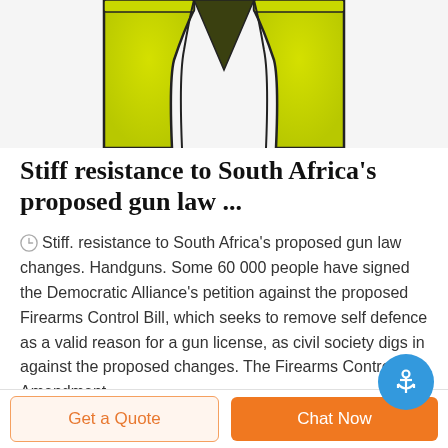[Figure (illustration): Partial view of a yellow-green safety vest / high-visibility vest against a white background, showing the top portion with a V-neck opening]
Stiff resistance to South Africa's proposed gun law ...
Stiff. resistance to South Africa's proposed gun law changes. Handguns. Some 60 000 people have signed the Democratic Alliance's petition against the proposed Firearms Control Bill, which seeks to remove self defence as a valid reason for a gun license, as civil society digs in against the proposed changes. The Firearms Control Amendment ...